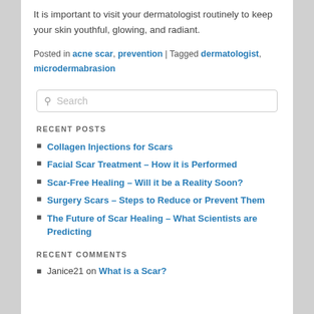It is important to visit your dermatologist routinely to keep your skin youthful, glowing, and radiant.
Posted in acne scar, prevention | Tagged dermatologist, microdermabrasion
[Figure (other): Search input box with placeholder text 'Search']
RECENT POSTS
Collagen Injections for Scars
Facial Scar Treatment – How it is Performed
Scar-Free Healing – Will it be a Reality Soon?
Surgery Scars – Steps to Reduce or Prevent Them
The Future of Scar Healing – What Scientists are Predicting
RECENT COMMENTS
Janice21 on What is a Scar?